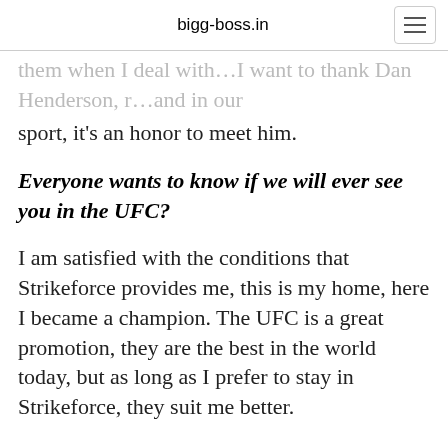bigg-boss.in
them when I deal with…I want to thank Dan Henderson, r…and in our sport, it's an honor to meet him.
Everyone wants to know if we will ever see you in the UFC?
I am satisfied with the conditions that Strikeforce provides me, this is my home, here I became a champion. The UFC is a great promotion, they are the best in the world today, but as long as I prefer to stay in Strikeforce, they suit me better.
You told us earlier that you would like to…